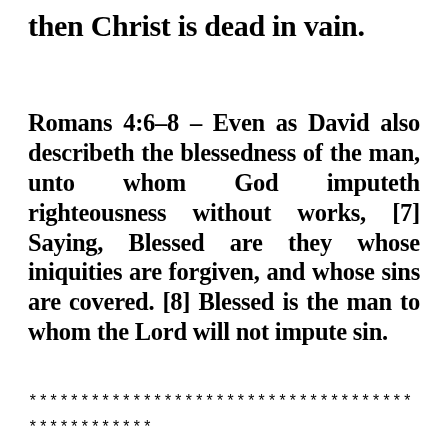then Christ is dead in vain.
Romans 4:6–8 – Even as David also describeth the blessedness of the man, unto whom God imputeth righteousness without works, [7] Saying, Blessed are they whose iniquities are forgiven, and whose sins are covered. [8] Blessed is the man to whom the Lord will not impute sin.
************************************* ************